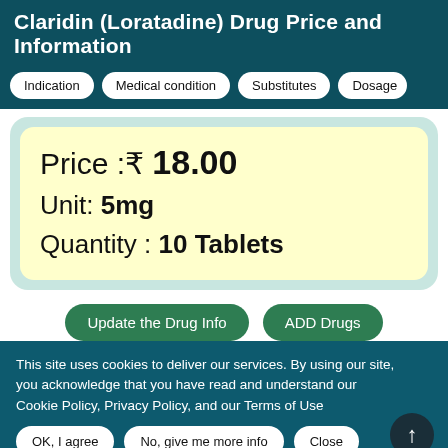Claridin (Loratadine) Drug Price and Information
Indication
Medical condition
Substitutes
Dosage
Price : ₹ 18.00
Unit: 5mg
Quantity : 10 Tablets
Update the Drug Info
ADD Drugs
This site uses cookies to deliver our services. By using our site, you acknowledge that you have read and understand our Cookie Policy, Privacy Policy, and our Terms of Use
OK, I agree
No, give me more info
Close